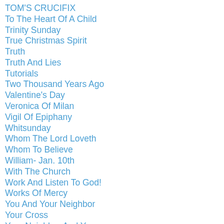TOM'S CRUCIFIX
To The Heart Of A Child
Trinity Sunday
True Christmas Spirit
Truth
Truth And Lies
Tutorials
Two Thousand Years Ago
Valentine's Day
Veronica Of Milan
Vigil Of Epiphany
Whitsunday
Whom The Lord Loveth
Whom To Believe
William- Jan. 10th
With The Church
Work And Listen To God!
Works Of Mercy
You And Your Neighbor
Your Cross
Your Neighbor And You